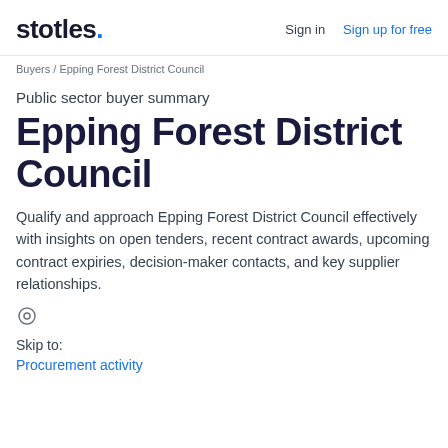stotles. | Sign in | Sign up for free
Buyers / Epping Forest District Council
Public sector buyer summary
Epping Forest District Council
Qualify and approach Epping Forest District Council effectively with insights on open tenders, recent contract awards, upcoming contract expiries, decision-maker contacts, and key supplier relationships.
Skip to:
Procurement activity